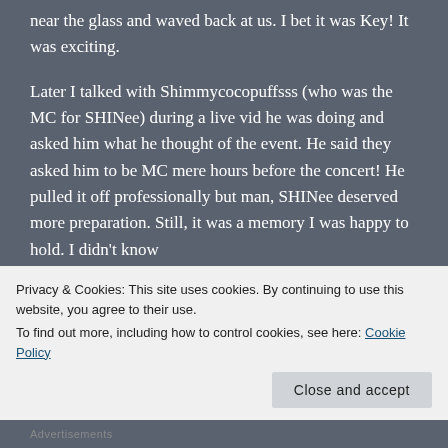near the glass and waved back at us. I bet it was Key! It was exciting.
Later I talked with Shimmycocopuffsss (who was the MC for SHINee) during a live vid he was doing and asked him what he thought of the event. He said they asked him to be MC mere hours before the concert! He pulled it off professionally but man, SHINee deserved more preparation. Still, it was a memory I was happy to hold. I didn't know
Privacy & Cookies: This site uses cookies. By continuing to use this website, you agree to their use.
To find out more, including how to control cookies, see here: Cookie Policy
Close and accept
Advertisements